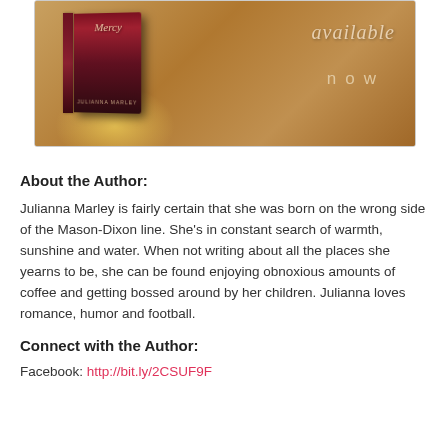[Figure (illustration): Book cover promotional image for 'Mercy' by Julianna Marley showing a 3D book mockup with a dramatic red/dark cover on a warm golden/brown background with the text 'available now' in script and block lettering on the right side.]
About the Author:
Julianna Marley is fairly certain that she was born on the wrong side of the Mason-Dixon line. She’s in constant search of warmth, sunshine and water. When not writing about all the places she yearns to be, she can be found enjoying obnoxious amounts of coffee and getting bossed around by her children. Julianna loves romance, humor and football.
Connect with the Author:
Facebook: http://bit.ly/2CSUF9F